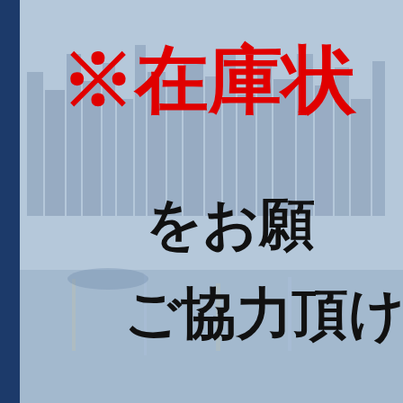[Figure (photo): City skyline at night with illuminated buildings reflected on water, with a blue tint overlay. A dark navy blue vertical bar on the left edge.]
※在庫状
をお願
ご協力頂け